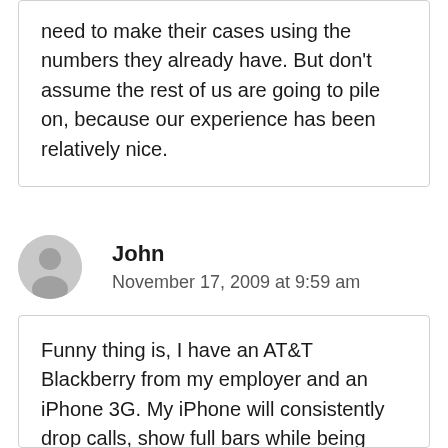need to make their cases using the numbers they already have. But don't assume the rest of us are going to pile on, because our experience has been relatively nice.
John
November 17, 2009 at 9:59 am
Funny thing is, I have an AT&T Blackberry from my employer and an iPhone 3G. My iPhone will consistently drop calls, show full bars while being unable to make a data